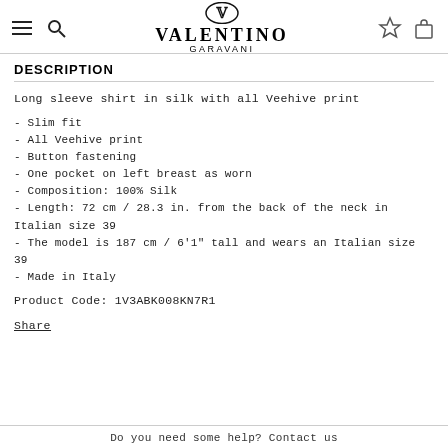VALENTINO GARAVANI
DESCRIPTION
Long sleeve shirt in silk with all Veehive print
- Slim fit
- All Veehive print
- Button fastening
- One pocket on left breast as worn
- Composition: 100% Silk
- Length: 72 cm / 28.3 in. from the back of the neck in Italian size 39
- The model is 187 cm / 6'1" tall and wears an Italian size 39
- Made in Italy
Product Code: 1V3ABK008KN7R1
Share
Do you need some help? Contact us